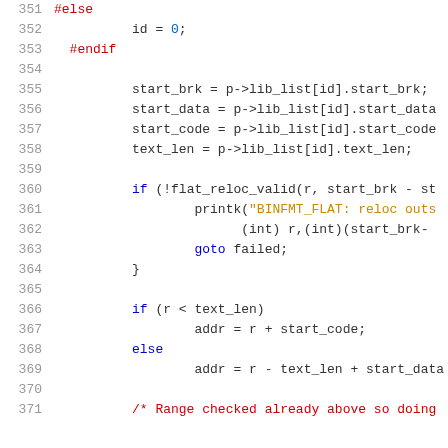Code listing lines 351-371, C source code
351  #else
352          id = 0;
353  #endif
354
355          start_brk = p->lib_list[id].start_brk;
356          start_data = p->lib_list[id].start_data
357          start_code = p->lib_list[id].start_code
358          text_len = p->lib_list[id].text_len;
359
360          if (!flat_reloc_valid(r, start_brk - st
361                  printk("BINFMT_FLAT: reloc outs
362                          (int) r,(int)(start_brk-
363                  goto failed;
364          }
365
366          if (r < text_len)
367                  addr = r + start_code;
368          else
369                  addr = r - text_len + start_data
370
371          /* Range checked already above so doing